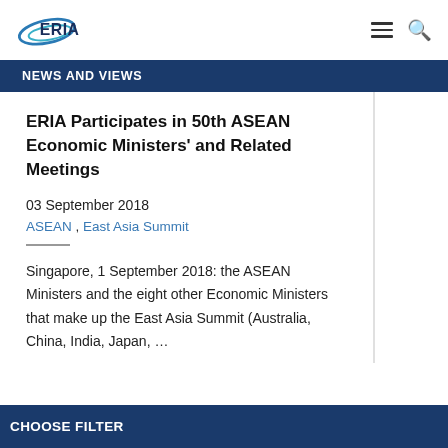ERIA
NEWS AND VIEWS
ERIA Participates in 50th ASEAN Economic Ministers' and Related Meetings
03 September 2018
ASEAN , East Asia Summit
Singapore, 1 September 2018: the ASEAN Ministers and the eight other Economic Ministers that make up the East Asia Summit (Australia, China, India, Japan, …
CHOOSE FILTER